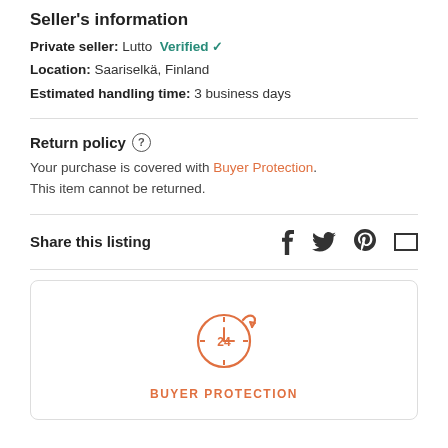Seller's information
Private seller: Lutto  Verified ✓
Location: Saariselkä, Finland
Estimated handling time: 3 business days
Return policy ?
Your purchase is covered with Buyer Protection. This item cannot be returned.
Share this listing
[Figure (infographic): 24-hour clock icon with arrow forming a circle, labeled BUYER PROTECTION in orange below]